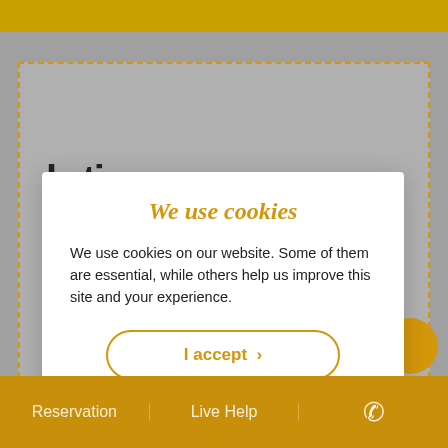We use cookies
We use cookies on our website. Some of them are essential, while others help us improve this site and your experience.
I accept ›
Do not accept statistics and marketing cookies
Privacy Note
Reservation  Live Help  ☎